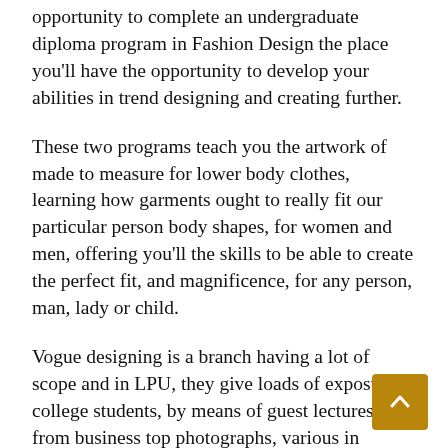opportunity to complete an undergraduate diploma program in Fashion Design the place you'll have the opportunity to develop your abilities in trend designing and creating further.
These two programs teach you the artwork of made to measure for lower body clothes, learning how garments ought to really fit our particular person body shapes, for women and men, offering you'll the skills to be able to create the perfect fit, and magnificence, for any person, man, lady or child.
Vogue designing is a branch having a lot of scope and in LPU, they give loads of exposure to college students, by means of guest lectures from business top photographs, various in campus and out campus fashion reveals, and likewise they have their very own store the place the studentscreations are showcased and offered.
American fashion design is extremely various,